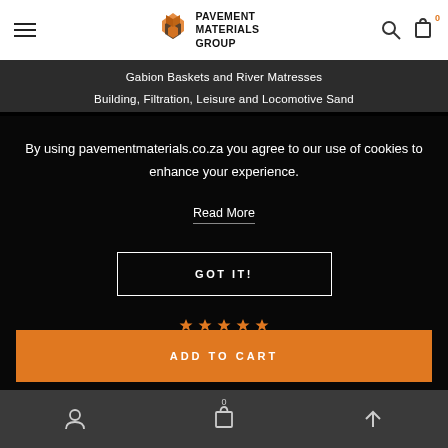[Figure (logo): Pavement Materials Group logo with diamond/hexagon pattern icon and text]
Gabion Baskets and River Matresses | Building, Filtration, Leisure and Locomotive Sand
By using pavementmaterials.co.za you agree to our use of cookies to enhance your experience.
Read More
GOT IT!
ADD TO CART
Account | Cart 0 | Back to top